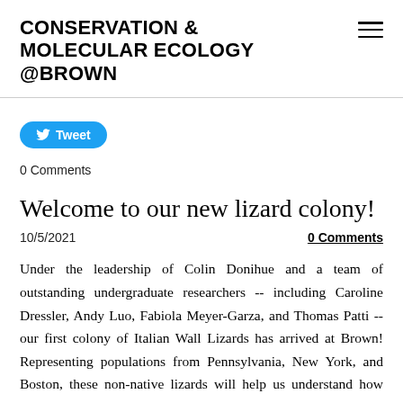CONSERVATION & MOLECULAR ECOLOGY @BROWN
[Figure (other): Tweet button with Twitter bird icon]
0 Comments
Welcome to our new lizard colony!
10/5/2021
0 Comments
Under the leadership of Colin Donihue and a team of outstanding undergraduate researchers -- including Caroline Dressler, Andy Luo, Fabiola Meyer-Garza, and Thomas Patti -- our first colony of Italian Wall Lizards has arrived at Brown! Representing populations from Pennsylvania, New York, and Boston, these non-native lizards will help us understand how their populations